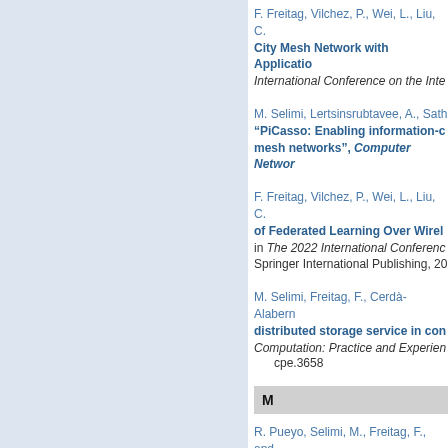F. Freitag, Vilchez, P., Wei, L., Liu, C.
City Mesh Network with Applicatio...
International Conference on the Inte...
M. Selimi, Lertsinsrubtavee, A., Sath...
“PiCasso: Enabling information-c... mesh networks”, Computer Networ...
F. Freitag, Vilchez, P., Wei, L., Liu, C.
of Federated Learning Over Wirel...
in The 2022 International Conferenc... Springer International Publishing, 20...
M. Selimi, Freitag, F., Cerdà-Alabern...
distributed storage service in con...
Computation: Practice and Experien...
cpe.3658
M
R. Pueyo, Selimi, M., Freitag, F., and...
Distributed Edge Infrastructures v...